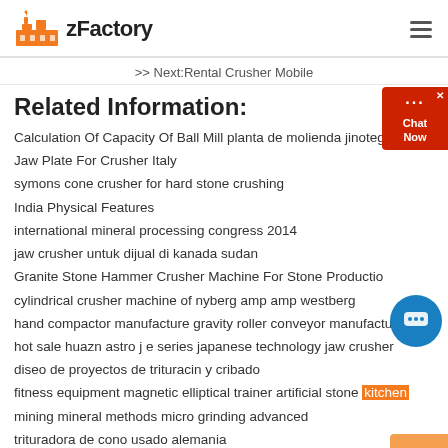zFactory
>> Next:Rental Crusher Mobile
Related Information:
Calculation Of Capacity Of Ball Mill planta de molienda jinotega
Jaw Plate For Crusher Italy
symons cone crusher for hard stone crushing
India Physical Features
international mineral processing congress 2014
jaw crusher untuk dijual di kanada sudan
Granite Stone Hammer Crusher Machine For Stone Production
cylindrical crusher machine of nyberg amp amp westberg
hand compactor manufacture gravity roller conveyor manufacturers
hot sale huazn astro j e series japanese technology jaw crusher
diseo de proyectos de trituracin y cribado
fitness equipment magnetic elliptical trainer artificial stone kitchen
mining mineral methods micro grinding advanced
trituradora de cono usado alemania
Basalt crushing Plant ManufacturingIIar Iran trommel screen search